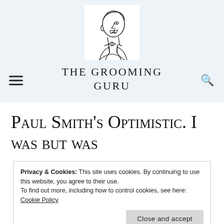[Figure (logo): Line drawing illustration of a gentleman's head in profile, facing left, wearing a bow tie and suit jacket — the logo for The Grooming Guru website]
The Grooming Guru
Paul Smith's Optimistic. I was but was
Privacy & Cookies: This site uses cookies. By continuing to use this website, you agree to their use.
To find out more, including how to control cookies, see here: Cookie Policy
Close and accept